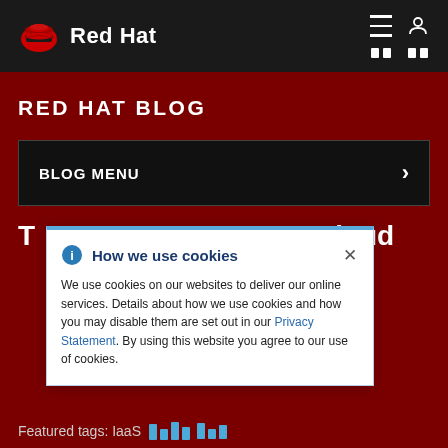[Figure (logo): Red Hat logo with red hat icon and white bold text 'Red Hat' on dark navigation bar]
RED HAT BLOG
BLOG MENU
[Figure (screenshot): Cookie consent banner overlay: 'How we use cookies' with info icon and close button. Text: 'We use cookies on our websites to deliver our online services. Details about how we use cookies and how you may disable them are set out in our Privacy Statement. By using this website you agree to our use of cookies.']
Featured tags: IaaS